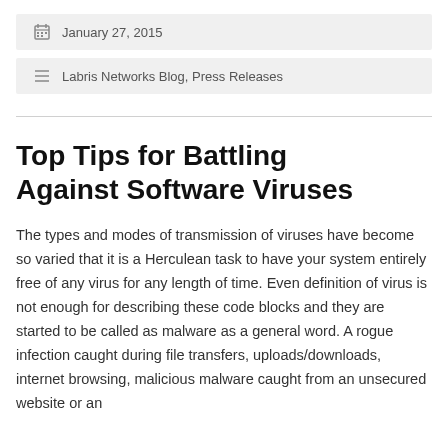January 27, 2015
Labris Networks Blog, Press Releases
Top Tips for Battling Against Software Viruses
The types and modes of transmission of viruses have become so varied that it is a Herculean task to have your system entirely free of any virus for any length of time. Even definition of virus is not enough for describing these code blocks and they are started to be called as malware as a general word. A rogue infection caught during file transfers, uploads/downloads, internet browsing, malicious malware caught from an unsecured website or an